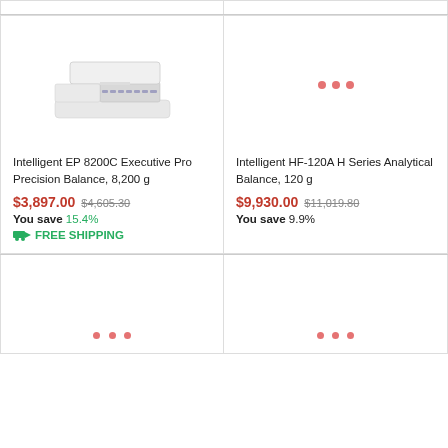[Figure (photo): Intelligent EP 8200C Executive Pro Precision Balance scale, white/beige color]
Intelligent EP 8200C Executive Pro Precision Balance, 8,200 g
$3,897.00  $4,605.30  You save 15.4%  FREE SHIPPING
[Figure (other): Loading indicator with three red dots for Intelligent HF-120A product]
Intelligent HF-120A H Series Analytical Balance, 120 g
$9,930.00  $11,019.80  You save 9.9%
[Figure (other): Loading indicator with three red dots for product in lower left]
[Figure (other): Loading indicator with three red dots for product in lower right]